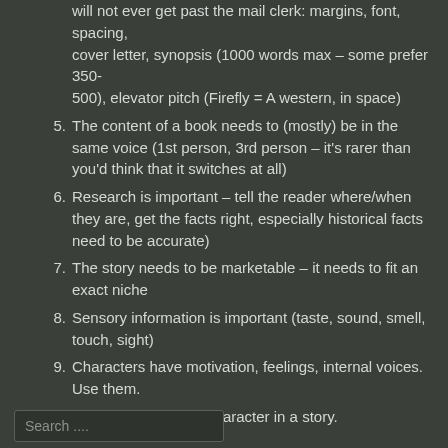(truncated) will not ever get past the mail clerk: margins, font, spacing, cover letter, synopsis (1000 words max – some prefer 350-500), elevator pitch (Firefly = A western, in space)
5. The content of a book needs to (mostly) be in the same voice (1st person, 3rd person – it's rarer than you'd think that it switches at all)
6. Research is important – tell the reader where/when they are, get the facts right, especially historical facts need to be accurate)
7. The story needs to be marketable – it needs to fit an exact niche
8. Sensory information is important (taste, sound, smell, touch, sight)
9. Characters have motivation, feelings, internal voices. Use them.
10. Place can also be a character in a story.
Search ....